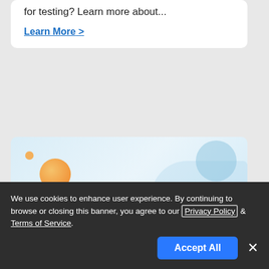for testing? Learn more about...
Learn More >
[Figure (illustration): BrowserStack promotional banner: 'Shift from VMs To Selenium Grid on Cloud for Cross Browser Testing' with decorative orange and blue circles on a light blue background, BrowserStack logo at bottom.]
We use cookies to enhance user experience. By continuing to browse or closing this banner, you agree to our Privacy Policy & Terms of Service.
Accept All
×